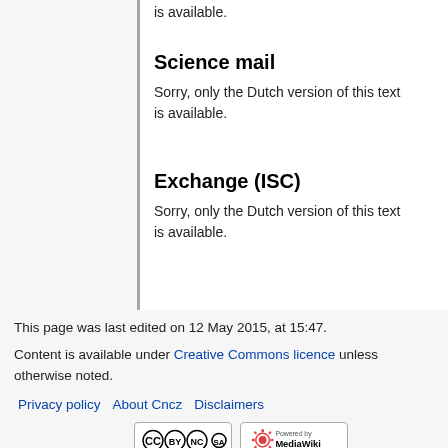is available.
Science mail
Sorry, only the Dutch version of this text is available.
Exchange (ISC)
Sorry, only the Dutch version of this text is available.
This page was last edited on 12 May 2015, at 15:47.

Content is available under Creative Commons licence unless otherwise noted.

Privacy policy   About Cncz   Disclaimers
[Figure (logo): Creative Commons BY-NC-SA license badge]
[Figure (logo): Powered by MediaWiki badge]